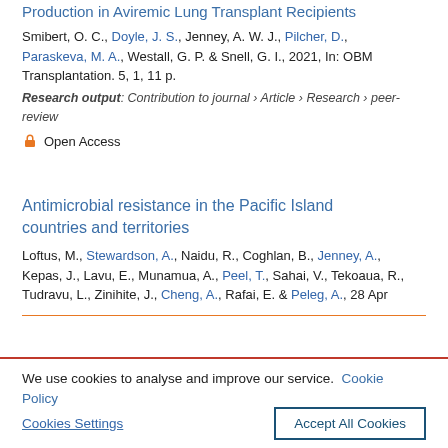Production in Aviremic Lung Transplant Recipients
Smibert, O. C., Doyle, J. S., Jenney, A. W. J., Pilcher, D., Paraskeva, M. A., Westall, G. P. & Snell, G. I., 2021, In: OBM Transplantation. 5, 1, 11 p.
Research output: Contribution to journal › Article › Research › peer-review
Open Access
Antimicrobial resistance in the Pacific Island countries and territories
Loftus, M., Stewardson, A., Naidu, R., Coghlan, B., Jenney, A., Kepas, J., Lavu, E., Munamua, A., Peel, T., Sahai, V., Tekoaua, R., Tudravu, L., Zinihite, J., Cheng, A., Rafai, E. & Peleg, A., 28 Apr
We use cookies to analyse and improve our service. Cookie Policy
Cookies Settings
Accept All Cookies